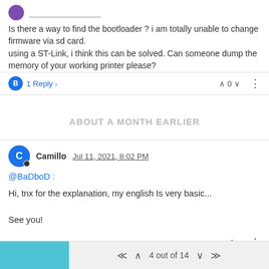Is there a way to find the bootloader ? i am totally unable to change firmware via sd card.
using a ST-Link, i think this can be solved. Can someone dump the memory of your working printer please?
1 Reply
0
ABOUT A MONTH EARLIER
Camillo  Jul 11, 2021, 8:02 PM
@BaDboD :
Hi, tnx for the explanation, my english Is very basic...

See you!
0
4 out of 14